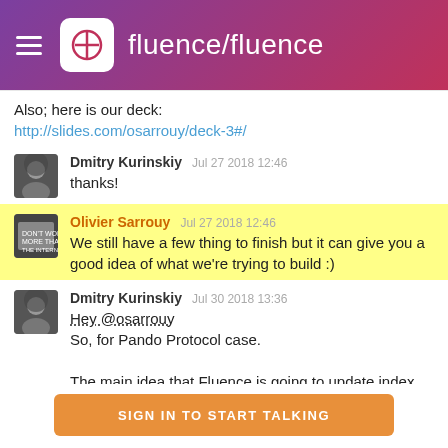fluence/fluence
Also; here is our deck:
http://slides.com/osarrouy/deck-3#/
Dmitry Kurinskiy   Jul 27 2018 12:46
thanks!
Olivier Sarrouy   Jul 27 2018 12:46
We still have a few thing to finish but it can give you a good idea of what we're trying to build :)
Dmitry Kurinskiy   Jul 30 2018 13:36
Hey @osarrouy
So, for Pando Protocol case.

The main idea that Fluence is going to update index from Ethereum (not only, but it's an important feature
SIGN IN TO START TALKING